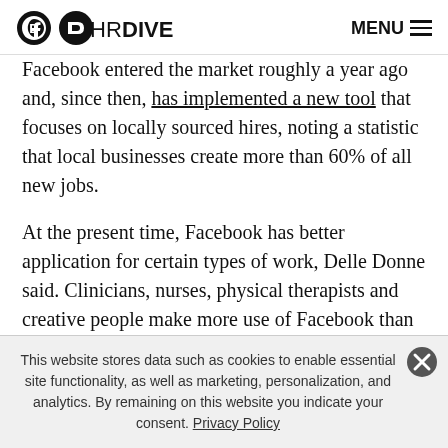HR DIVE  MENU
Facebook entered the market roughly a year ago and, since then, has implemented a new tool that focuses on locally sourced hires, noting a statistic that local businesses create more than 60% of all new jobs.
At the present time, Facebook has better application for certain types of work, Delle Donne said. Clinicians, nurses, physical therapists and creative people make more use of Facebook than other professionals, so you see nursing jobs or PT jobs being passed around within the
This website stores data such as cookies to enable essential site functionality, as well as marketing, personalization, and analytics. By remaining on this website you indicate your consent. Privacy Policy